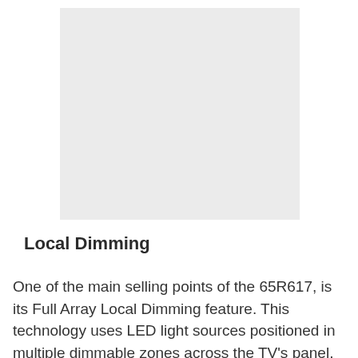[Figure (photo): A large light gray placeholder image rectangle representing a photo or illustration related to local dimming on the TCL 65R617 TV.]
Local Dimming
One of the main selling points of the 65R617, is its Full Array Local Dimming feature. This technology uses LED light sources positioned in multiple dimmable zones across the TV's panel, allowing the